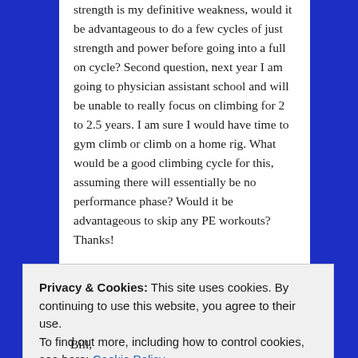strength is my definitive weakness, would it be advantageous to do a few cycles of just strength and power before going into a full on cycle? Second question, next year I am going to physician assistant school and will be unable to really focus on climbing for 2 to 2.5 years. I am sure I would have time to gym climb or climb on a home rig. What would be a good climbing cycle for this, assuming there will essentially be no performance phase? Would it be advantageous to skip any PE workouts? Thanks!
Like
Reply
Privacy & Cookies: This site uses cookies. By continuing to use this website, you agree to their use. To find out more, including how to control cookies, see here: Cookie Policy
Close and accept
Bill,